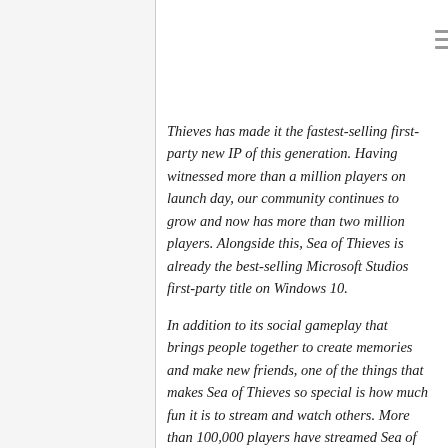Thieves has made it the fastest-selling first-party new IP of this generation. Having witnessed more than a million players on launch day, our community continues to grow and now has more than two million players. Alongside this, Sea of Thieves is already the best-selling Microsoft Studios first-party title on Windows 10.
In addition to its social gameplay that brings people together to create memories and make new friends, one of the things that makes Sea of Thieves so special is how much fun it is to stream and watch others. More than 100,000 players have streamed Sea of Thieves since launch, resulting in more than 10 million hours